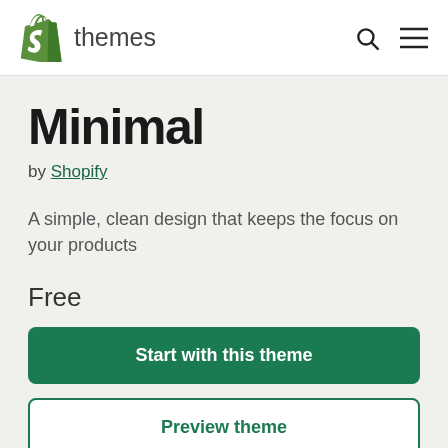S themes
Minimal
by Shopify
A simple, clean design that keeps the focus on your products
Free
Start with this theme
Preview theme